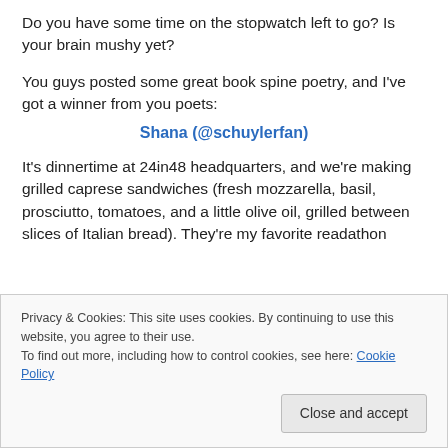Do you have some time on the stopwatch left to go? Is your brain mushy yet?
You guys posted some great book spine poetry, and I've got a winner from you poets:
Shana (@schuylerfan)
It's dinnertime at 24in48 headquarters, and we're making grilled caprese sandwiches (fresh mozzarella, basil, prosciutto, tomatoes, and a little olive oil, grilled between slices of Italian bread). They're my favorite readathon
Privacy & Cookies: This site uses cookies. By continuing to use this website, you agree to their use.
To find out more, including how to control cookies, see here: Cookie Policy
Close and accept